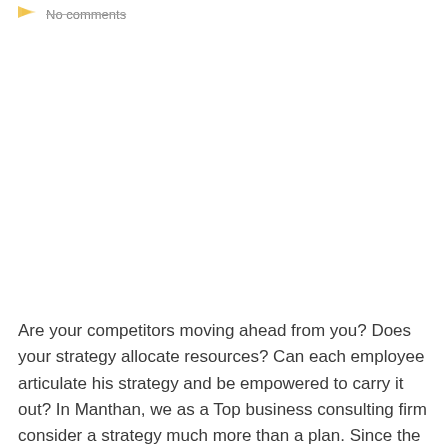No comments
Are your competitors moving ahead from you? Does your strategy allocate resources? Can each employee articulate his strategy and be empowered to carry it out? In Manthan, we as a Top business consulting firm consider a strategy much more than a plan. Since the founding of Manthan in 2014, a strategy is